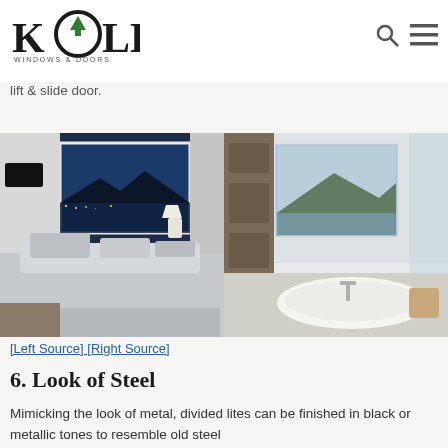Kolbe Windows & Doors
adding a door can enhance a entry's s... the eyes upward, or emphasize its... such as above a sliding, folding, or lift & slide door.
[Figure (photo): Left photo: modern bedroom interior with large sliding glass door showing nighttime water view with mountains. Right photo: modern bathroom with freestanding bathtub and large casement window with mountain lake view.]
[Left Source] [Right Source]
6. Look of Steel
Mimicking the look of metal, divided lites can be finished in black or metallic tones to resemble old steel windows, with a more attractive. Contemporary and...